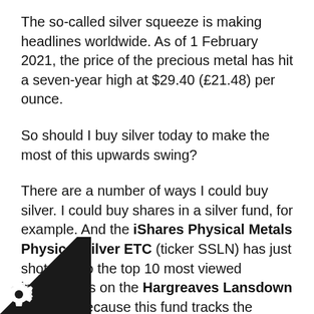The so-called silver squeeze is making headlines worldwide. As of 1 February 2021, the price of the precious metal has hit a seven-year high at $29.40 (£21.48) per ounce.
So should I buy silver today to make the most of this upwards swing?
There are a number of ways I could buy silver. I could buy shares in a silver fund, for example. And the iShares Physical Metals Physical Silver ETC (ticker SSLN) has just shot up into the top 10 most viewed investments on the Hargreaves Lansdown website. Because this fund tracks the market price of silver, SSLN is up nearly 10%